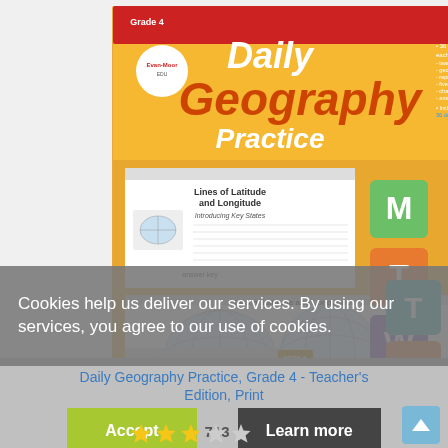[Figure (screenshot): Book cover of 'Daily Geography Practice, Grade 4' by Evan-Moor. Orange and yellow cover with worksheet previews showing 'Lines of Latitude and Longitude' and colored weekday tabs (M, T, W, T, F) on the right side.]
Cookies help us deliver our services. By using our services, you agree to our use of cookies.
Daily Geography Practice, Grade 4 - Teacher's Edition, Print
Accept  713  Learn more